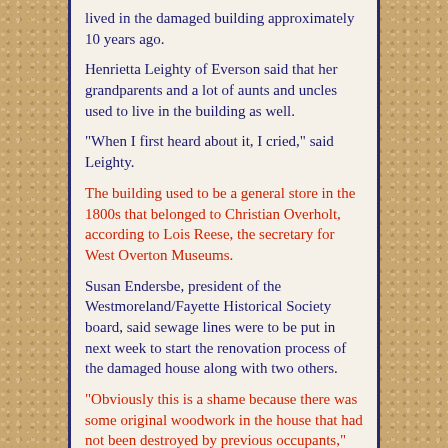lived in the damaged building approximately 10 years ago.
Henrietta Leighty of Everson said that her grandparents and a lot of aunts and uncles used to live in the building as well.
"When I first heard about it, I cried," said Leighty.
The building used to be a general store in the 1800s that belonged to Christian Overholt, according to Lois Reese, the secretary for West Overton Museums.
Susan Endersbe, president of the Westmoreland/Fayette Historical Society board, said sewage lines were to be put in next week to start the renovation process of the damaged house along with two others.
"Obviously this is a shame because there was some original woodwork in the house that had not been destroyed by previous occupants," said Endersbe. "There wasn't a lot left, but what there was we definitely would have liked to salvage."